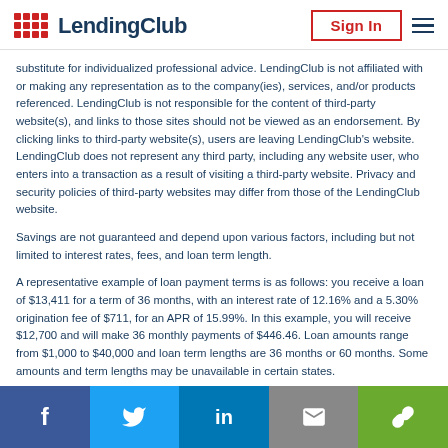LendingClub — Sign In
substitute for individualized professional advice. LendingClub is not affiliated with or making any representation as to the company(ies), services, and/or products referenced. LendingClub is not responsible for the content of third-party website(s), and links to those sites should not be viewed as an endorsement. By clicking links to third-party website(s), users are leaving LendingClub's website. LendingClub does not represent any third party, including any website user, who enters into a transaction as a result of visiting a third-party website. Privacy and security policies of third-party websites may differ from those of the LendingClub website.
Savings are not guaranteed and depend upon various factors, including but not limited to interest rates, fees, and loan term length.
A representative example of loan payment terms is as follows: you receive a loan of $13,411 for a term of 36 months, with an interest rate of 12.16% and a 5.30% origination fee of $711, for an APR of 15.99%. In this example, you will receive $12,700 and will make 36 monthly payments of $446.46. Loan amounts range from $1,000 to $40,000 and loan term lengths are 36 months or 60 months. Some amounts and term lengths may be unavailable in certain states.
Social share bar: Facebook, Twitter, LinkedIn, Email, Link